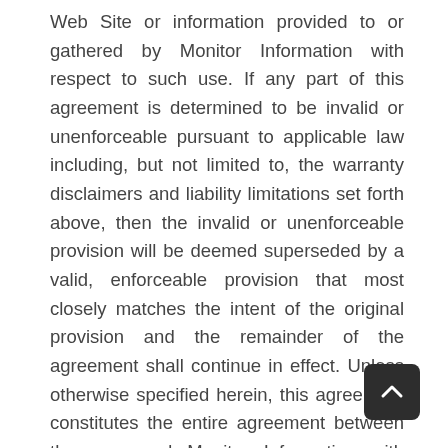Web Site or information provided to or gathered by Monitor Information with respect to such use. If any part of this agreement is determined to be invalid or unenforceable pursuant to applicable law including, but not limited to, the warranty disclaimers and liability limitations set forth above, then the invalid or unenforceable provision will be deemed superseded by a valid, enforceable provision that most closely matches the intent of the original provision and the remainder of the agreement shall continue in effect. Unless otherwise specified herein, this agreement constitutes the entire agreement between the user and Monitor Information with respect to the Monitor Information Web Site and it supersedes all prior or contemporaneous communications and proposals, whether electronic, oral or written, between the user and Monitor Information with respect to the Monitor Information Web Site. A printed version of this agreement and of any notice given in electronic form shall be admissible in judicial administrative proceedings based upon or relating to this